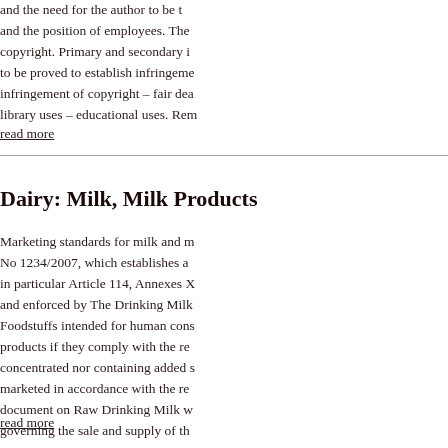and the need for the author to be t... and the position of employees. The ... copyright. Primary and secondary i... to be proved to establish infringeme... infringement of copyright – fair dea... library uses – educational uses. Rem...
read more
Dairy: Milk, Milk Products
Marketing standards for milk and m... No 1234/2007, which establishes a... in particular Article 114, Annexes X... and enforced by The Drinking Milk...
Foodstuffs intended for human cons... products if they comply with the re... concentrated nor containing added s... marketed in accordance with the re... document on Raw Drinking Milk w... governing the sale and supply of th...
read more